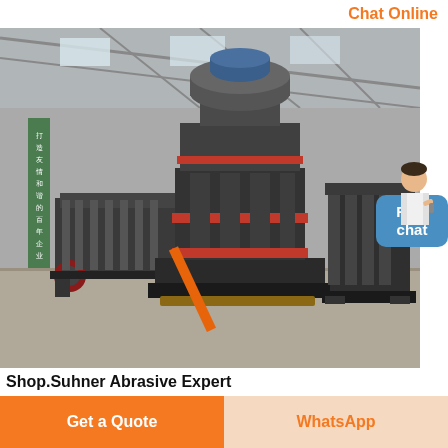Chat Online
[Figure (photo): Industrial grinding mill machines in a large factory/warehouse setting. A large vertical roller mill (dark grey with red accents) is prominently visible in the center. Other heavy equipment including crushers are seen to the left and right. A green banner with Chinese text stands to the left. The factory has metal roof trusses and concrete floor.]
Shop.Suhner Abrasive Expert
Uwg 10 r 230v vde one handed angle grinder with 1050w digital electronics ensures
Get a Quote
WhatsApp